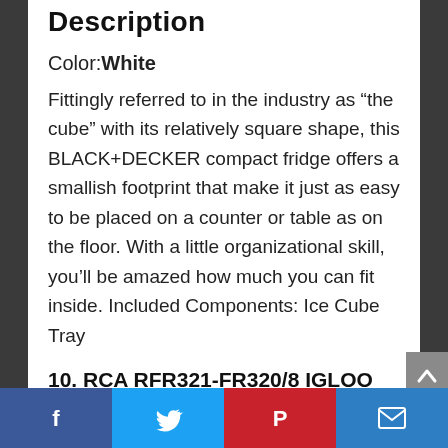Description
Color: White
Fittingly referred to in the industry as “the cube” with its relatively square shape, this BLACK+DECKER compact fridge offers a smallish footprint that make it just as easy to be placed on a counter or table as on the floor. With a little organizational skill, you’ll be amazed how much you can fit inside. Included Components: Ice Cube Tray
10. RCA RFR321-FR320/8 IGLOO Mini Refrigerator, 3.2 Cu Ft Fridge,
[Figure (other): Social media share bar with icons for Facebook, Twitter, Pinterest, and Email]